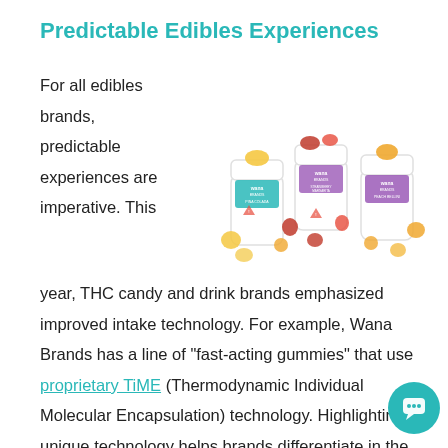Predictable Edibles Experiences
[Figure (photo): Three Wana Brands cannabis gummy product jars (Pina Colada, Strawberry Margarita, Peach Bellini) with colorful gummy candies and fruit arranged around them]
For all edibles brands, predictable experiences are imperative. This year, THC candy and drink brands emphasized improved intake technology. For example, Wana Brands has a line of “fast-acting gummies” that use proprietary TiME (Thermodynamic Individual Molecular Encapsulation) technology. Highlighting unique technology helps brands differentiate in the crowded cannabis gummies space.